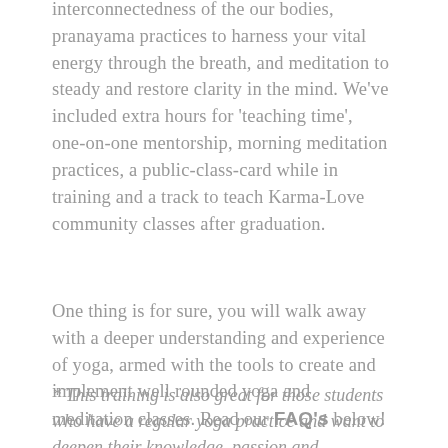interconnectedness of the our bodies, pranayama practices to harness your vital energy through the breath, and meditation to steady and restore clarity in the mind. We've included extra hours for 'teaching time', one-on-one mentorship, morning meditation practices, a public-class-card while in training and a track to teach Karma-Love community classes after graduation.
One thing is for sure, you will walk away with a deeper understanding and experience of yoga, armed with the tools to create and implement well rounded yoga and meditation classes. Read our FAQ's below!
* This training is also great for those students who have a regular yoga practice and want to deepen their knowledge, passion and